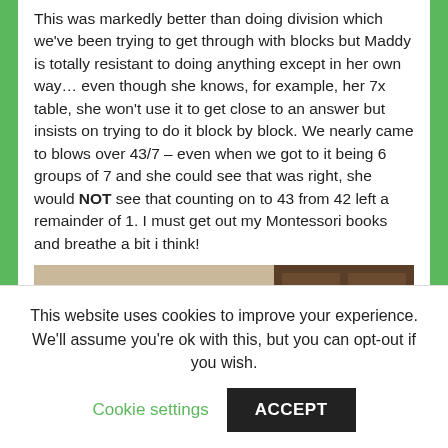This was markedly better than doing division which we've been trying to get through with blocks but Maddy is totally resistant to doing anything except in her own way… even though she knows, for example, her 7x table, she won't use it to get close to an answer but insists on trying to do it block by block. We nearly came to blows over 43/7 – even when we got to it being 6 groups of 7 and she could see that was right, she would NOT see that counting on to 43 from 42 left a remainder of 1. I must get out my Montessori books and breathe a bit i think!
[Figure (photo): A young girl in a blue outfit lying on the floor near a wooden cabinet and a red object, working on something on the floor.]
This website uses cookies to improve your experience. We'll assume you're ok with this, but you can opt-out if you wish.
Cookie settings   ACCEPT